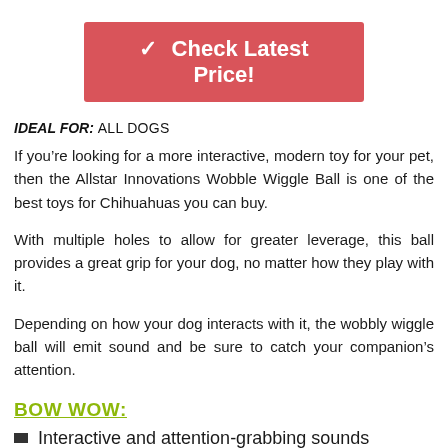[Figure (other): Red/pink button with checkmark: Check Latest Price!]
IDEAL FOR: ALL DOGS
If you’re looking for a more interactive, modern toy for your pet, then the Allstar Innovations Wobble Wiggle Ball is one of the best toys for Chihuahuas you can buy.
With multiple holes to allow for greater leverage, this ball provides a great grip for your dog, no matter how they play with it.
Depending on how your dog interacts with it, the wobbly wiggle ball will emit sound and be sure to catch your companion’s attention.
BOW WOW:
Interactive and attention-grabbing sounds
Gives positive feedback with phrases like